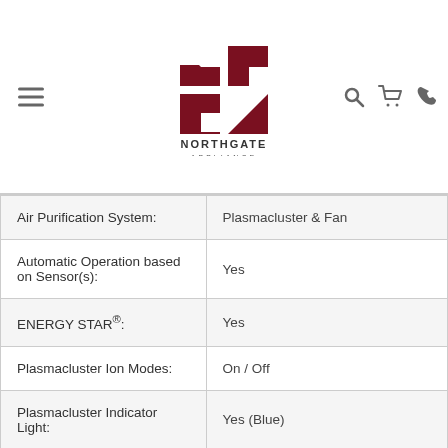Northgate Appliance
| Air Purification System: | Plasmacluster & Fan |
| Automatic Operation based on Sensor(s): | Yes |
| ENERGY STAR®: | Yes |
| Plasmacluster Ion Modes: | On / Off |
| Plasmacluster Indicator Light: | Yes (Blue) |
| Fan Speeds: | 3 (High / Med / Low) plus |